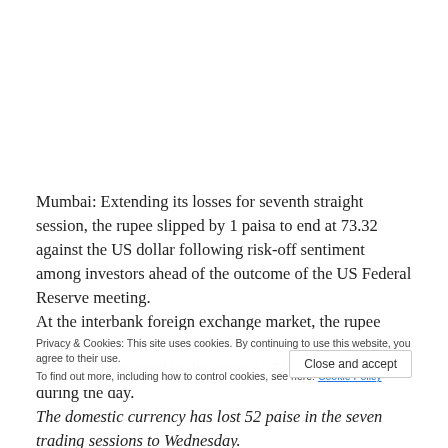Mumbai: Extending its losses for seventh straight session, the rupee slipped by 1 paisa to end at 73.32 against the US dollar following risk-off sentiment among investors ahead of the outcome of the US Federal Reserve meeting. At the interbank foreign exchange market, the rupee opened at 73.29 per dollar as against its previous close of 73.31. It hovered in the range of 73.20 to 73.38 during the day. The domestic currency has lost 52 paise in the seven trading sessions to Wednesday. Meanwhile, the dollar index, which gauges the greenback's strength against a basket of six currencies, fell 0.04 per cent
Privacy & Cookies: This site uses cookies. By continuing to use this website, you agree to their use. To find out more, including how to control cookies, see here: Cookie Policy Close and accept